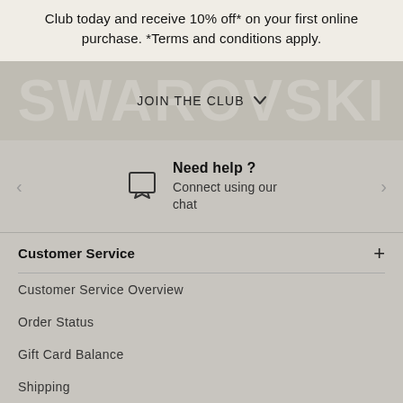Club today and receive 10% off* on your first online purchase. *Terms and conditions apply.
[Figure (infographic): Swarovski branded band with 'JOIN THE CLUB' button and chevron dropdown arrow, SWAROVSKI watermark text in background]
Need help ? Connect using our chat
Customer Service
Customer Service Overview
Order Status
Gift Card Balance
Shipping